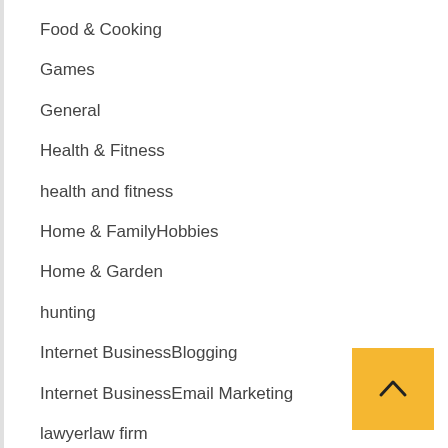Food & Cooking
Games
General
Health & Fitness
health and fitness
Home & FamilyHobbies
Home & Garden
hunting
Internet BusinessBlogging
Internet BusinessEmail Marketing
lawyerlaw firm
market
music instruction
News